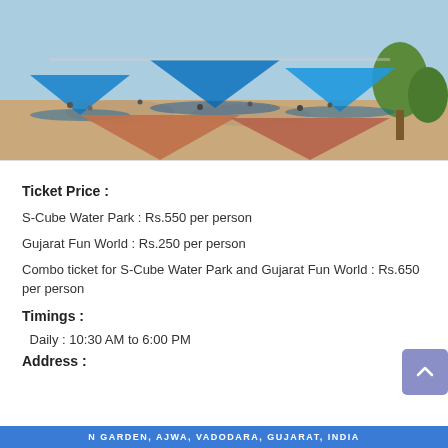[Figure (photo): Aerial view of a water park / fun world with multiple blue tent canopies shading visitors, orange/terracotta tent structures in the foreground, sandy ground, green trees on the right, and many visitors gathered under the tents.]
Ticket Price :
S-Cube Water Park : Rs.550 per person
Gujarat Fun World : Rs.250 per person
Combo ticket for S-Cube Water Park and Gujarat Fun World : Rs.650 per person
Timings :
Daily : 10:30 AM to 6:00 PM
Address :
N GARDEN, AJWA, VADODARA, GUJARAT, INDIA